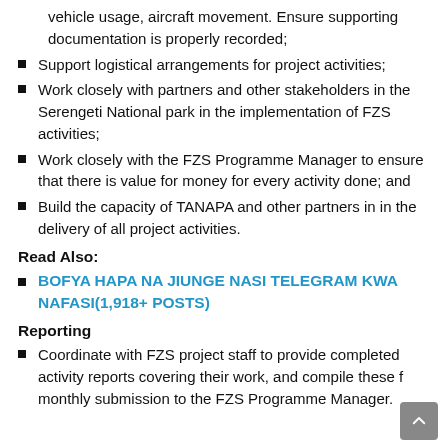vehicle usage, aircraft movement. Ensure supporting documentation is properly recorded;
Support logistical arrangements for project activities;
Work closely with partners and other stakeholders in the Serengeti National park in the implementation of FZS activities;
Work closely with the FZS Programme Manager to ensure that there is value for money for every activity done; and
Build the capacity of TANAPA and other partners in in the delivery of all project activities.
Read Also:
BOFYA HAPA NA JIUNGE NASI TELEGRAM KWA NAFASI(1,918+ POSTS)
Reporting
Coordinate with FZS project staff to provide completed activity reports covering their work, and compile these for monthly submission to the FZS Programme Manager.